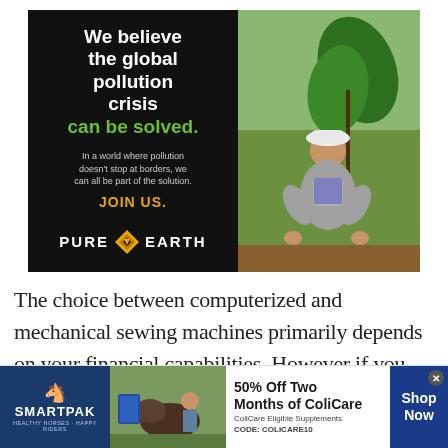[Figure (infographic): Pure Earth advertisement showing a man in a hard hat planting a tree seedling, with text: 'We believe the global pollution crisis can be solved. In a world where pollution doesn't stop at borders, we can all be part of the solution. JOIN US. PURE EARTH']
The choice between computerized and mechanical sewing machines primarily depends on your financial capabilities. However if you intend to go for a
[Figure (infographic): SmartPak banner advertisement: '50% Off Two Months of ColiCare. ColiCare Eligible Supplements. CODE: COLICARE10. Shop Now']